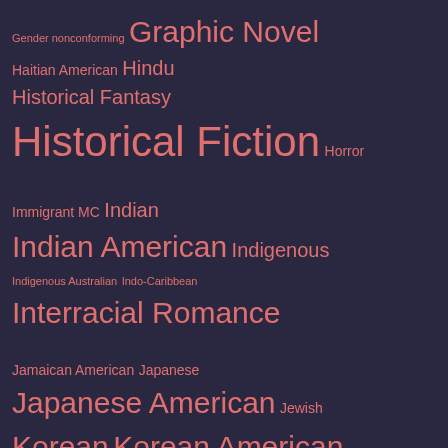[Figure (other): Tag cloud on dark navy/purple background showing book genre and representation categories in salmon/pink color at varying font sizes indicating frequency. Tags include: Gender nonconforming, Graphic Novel, Haitian American, Hindu, Historical Fantasy, Historical Fiction, Horror, Immigrant MC, Indian, Indian American, Indigenous, Indigenous Australian, Indo-Caribbean, Interracial Romance, Jamaican American, Japanese, Japanese American, Jewish, Korean, Korean American, Latinx, Lesbian, LGBTQ, Literary Fiction, M/M, Magical Realism, Mental Illness, Mexican American, Middle Eastern, Middle Grade, Multiracial]